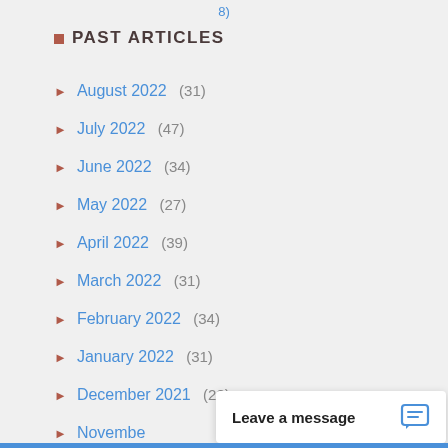8)
PAST ARTICLES
August 2022  (31)
July 2022  (47)
June 2022  (34)
May 2022  (27)
April 2022  (39)
March 2022  (31)
February 2022  (34)
January 2022  (31)
December 2021  (28)
November
Leave a message